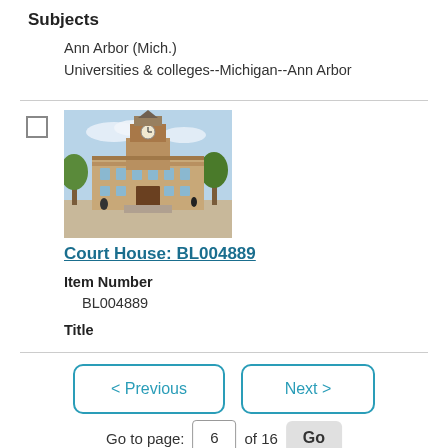Subjects
Ann Arbor (Mich.)
Universities & colleges--Michigan--Ann Arbor
[Figure (photo): Vintage postcard photograph of a large Victorian courthouse building with a prominent clock tower, surrounded by trees.]
Court House: BL004889
Item Number
BL004889
Title
< Previous
Next >
Go to page: 6 of 16 Go